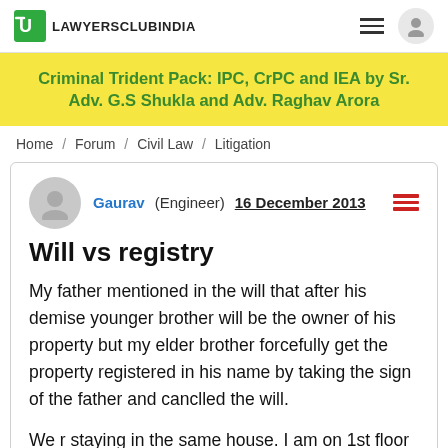LAWYERSCLUBINDIA
[Figure (other): Yellow promotional banner for Criminal Trident Pack course]
Criminal Trident Pack: IPC, CrPC and IEA by Sr. Adv. G.S Shukla and Adv. Raghav Arora
Home / Forum / Civil Law / Litigation
Gaurav (Engineer)   16 December 2013
Will vs registry
My father mentioned in the will that after his demise younger brother will be the owner of his property but my elder brother forcefully get the property registered in his name by taking the sign of the father and canclled the will.
We r staying in the same house. I am on 1st floor and elder brother on the 2nd floor. Now, he filed the case against me at the time the